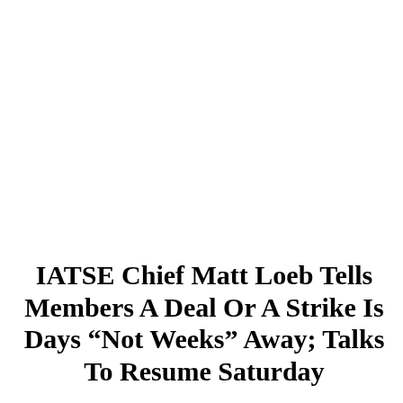IATSE Chief Matt Loeb Tells Members A Deal Or A Strike Is Days “Not Weeks” Away; Talks To Resume Saturday